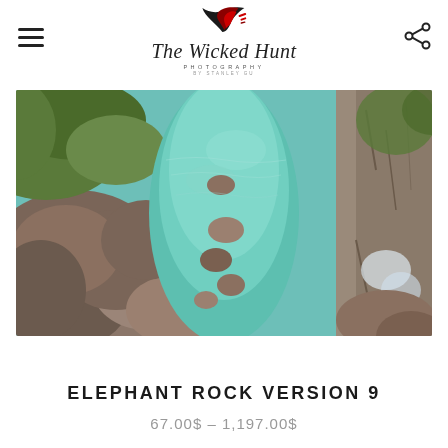[Figure (logo): The Wicked Hunt Photography logo with stylized bird/feather icon in red and black above script text reading 'The Wicked Hunt' with 'PHOTOGRAPHY' and 'BY STANLEY GU' beneath]
[Figure (photo): Aerial drone photograph of Elephant Rock - turquoise clear water channel between large granite boulders and rocky cliffs with green moss/vegetation]
ELEPHANT ROCK VERSION 9
67.00$ – 1,197.00$